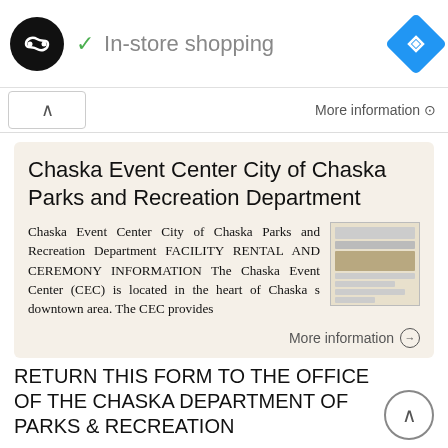[Figure (screenshot): Ad bar with circular logo, In-store shopping text with checkmark, and blue navigation diamond icon]
More information ⊙
Chaska Event Center City of Chaska Parks and Recreation Department
Chaska Event Center City of Chaska Parks and Recreation Department FACILITY RENTAL AND CEREMONY INFORMATION The Chaska Event Center (CEC) is located in the heart of Chaska s downtown area. The CEC provides
More information ⊙
RETURN THIS FORM TO THE OFFICE OF THE CHASKA DEPARTMENT OF PARKS & RECREATION